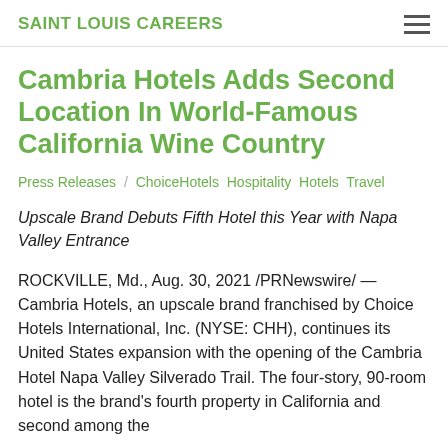SAINT LOUIS CAREERS
Cambria Hotels Adds Second Location In World-Famous California Wine Country
Press Releases / ChoiceHotels Hospitality Hotels Travel
Upscale Brand Debuts Fifth Hotel this Year with Napa Valley Entrance
ROCKVILLE, Md., Aug. 30, 2021 /PRNewswire/ — Cambria Hotels, an upscale brand franchised by Choice Hotels International, Inc. (NYSE: CHH), continues its United States expansion with the opening of the Cambria Hotel Napa Valley Silverado Trail. The four-story, 90-room hotel is the brand's fourth property in California and second among the